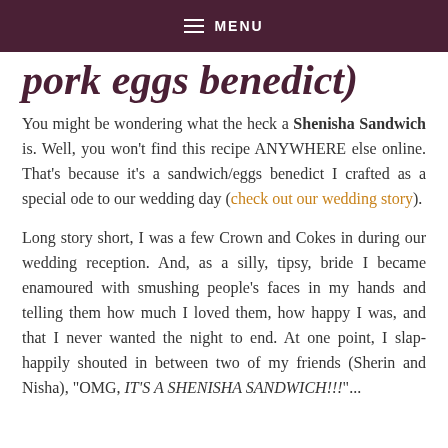MENU
pork eggs benedict)
You might be wondering what the heck a Shenisha Sandwich is. Well, you won't find this recipe ANYWHERE else online. That's because it's a sandwich/eggs benedict I crafted as a special ode to our wedding day (check out our wedding story).
Long story short, I was a few Crown and Cokes in during our wedding reception. And, as a silly, tipsy, bride I became enamoured with smushing people's faces in my hands and telling them how much I loved them, how happy I was, and that I never wanted the night to end. At one point, I slap-happily shouted in between two of my friends (Sherin and Nisha), "OMG, IT'S A SHENISHA SANDWICH!!!"...